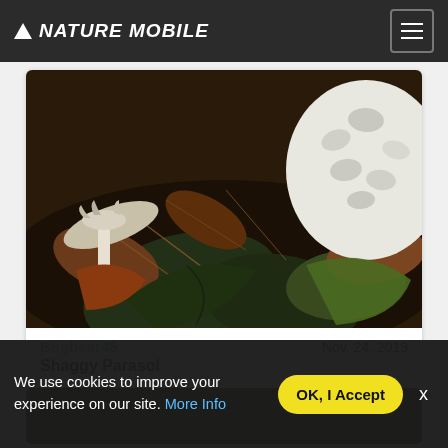NATURE MOBILE
[Figure (photo): Close-up photo of mushrooms (Shaggy Parasol) among fallen leaves and forest debris on the ground. A large white scaly mushroom cap is visible in the upper right, with another mushroom on the left, surrounded by dark green and brown leaves and pine needles.]
Bugbear45
Shaggy Parasol    Nov. 24, 2019
[Figure (photo): Partial view of a second nature observation card, mostly obscured by the cookie consent banner.]
We use cookies to improve your experience on our site. More Info
OK, I Accept
x